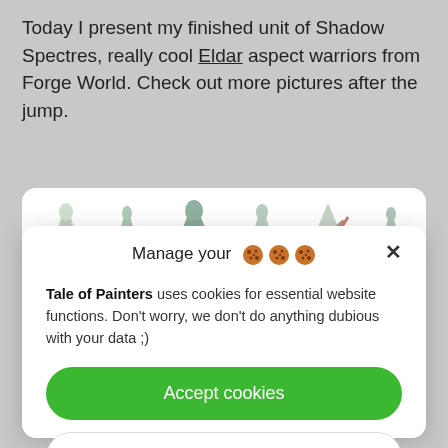Today I present my finished unit of Shadow Spectres, really cool Eldar aspect warriors from Forge World. Check out more pictures after the jump.
[Figure (photo): Strip showing miniature figures of Shadow Spectres Eldar aspect warriors on a white background]
Manage your 🍪🍪🍪
Tale of Painters uses cookies for essential website functions. Don't worry, we don't do anything dubious with your data ;)
Accept cookies
Deny
View preferences